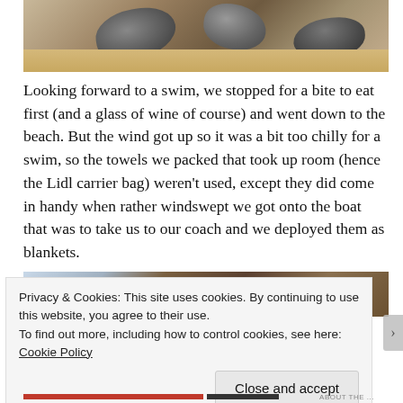[Figure (photo): Close-up photo of rocks and sand on a beach]
Looking forward to a swim, we stopped for a bite to eat first (and a glass of wine of course) and went down to the beach. But the wind got up so it was a bit too chilly for a swim, so the towels we packed that took up room (hence the Lidl carrier bag) weren't used, except they did come in handy when rather windswept we got onto the boat that was to take us to our coach and we deployed them as blankets.
[Figure (photo): Partial photo showing trees and a rocky/sandy landscape]
Privacy & Cookies: This site uses cookies. By continuing to use this website, you agree to their use.
To find out more, including how to control cookies, see here: Cookie Policy
Close and accept